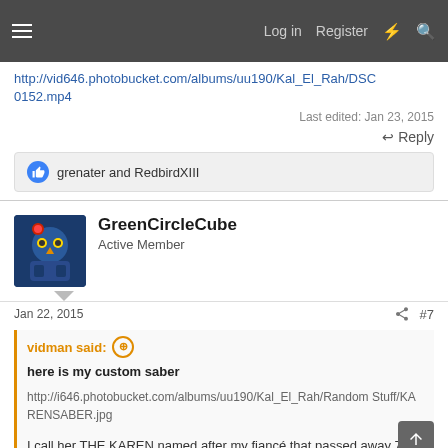Log in  Register
http://vid646.photobucket.com/albums/uu190/Kal_El_Rah/DSC10152.mp4
Last edited: Jan 23, 2015
↩ Reply
grenater and RedbirdXIII
GreenCircleCube
Active Member
Jan 22, 2015
#7
vidman said: ⊕
here is my custom saber
http://i646.photobucket.com/albums/uu190/Kal_El_Rah/Random Stuff/KARENSABER.jpg
I call her THE KAREN named after my fiancé that passed away 7...